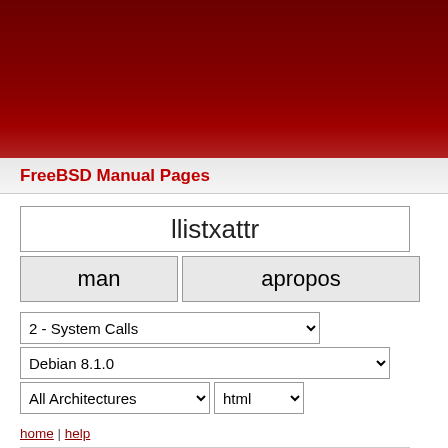FreeBSD Manual Pages
llistxattr
man | apropos
2 - System Calls
Debian 8.1.0
All Architectures | html
home | help
LISTXATTR(2)   System calls
NAME
listxattr, llistxattr, flistxattr - list ex